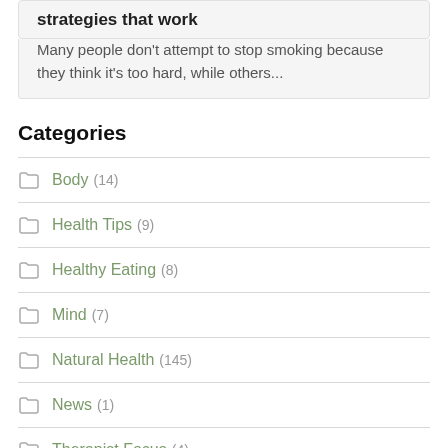strategies that work
Many people don't attempt to stop smoking because they think it's too hard, while others...
Categories
Body (14)
Health Tips (9)
Healthy Eating (8)
Mind (7)
Natural Health (145)
News (1)
Therapist Focus (4)